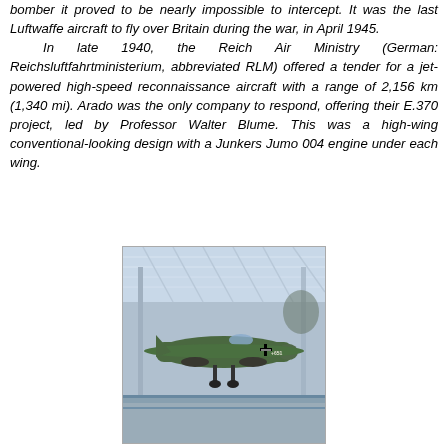bomber it proved to be nearly impossible to intercept. It was the last Luftwaffe aircraft to fly over Britain during the war, in April 1945.

In late 1940, the Reich Air Ministry (German: Reichsluftfahrtministerium, abbreviated RLM) offered a tender for a jet-powered high-speed reconnaissance aircraft with a range of 2,156 km (1,340 mi). Arado was the only company to respond, offering their E.370 project, led by Professor Walter Blume. This was a high-wing conventional-looking design with a Junkers Jumo 004 engine under each wing.
[Figure (photo): Photo of an Arado jet aircraft (green, with German cross markings) displayed inside a museum hangar with a glass and steel roof structure.]